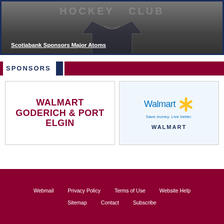[Figure (photo): Hockey club jersey/logo on dark background]
Scotiabank Sponsors Major Atoms
SPONSORS
[Figure (logo): Walmart Goderich & Port Elgin text logo in dark red]
[Figure (logo): Walmart logo with spark symbol, Save money. Live better. tagline, and WALMART text]
Webmail | Privacy Policy | Terms of Use | Website Help | Sitemap | Contact | Subscribe